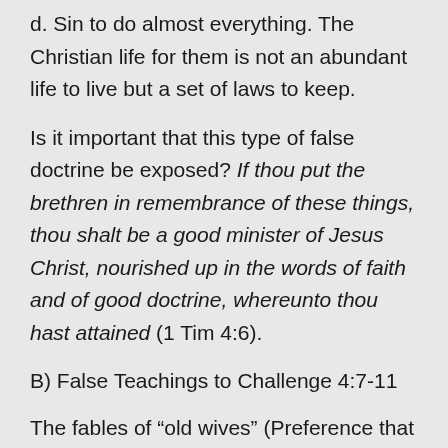d. Sin to do almost everything. The Christian life for them is not an abundant life to live but a set of laws to keep.
Is it important that this type of false doctrine be exposed? If thou put the brethren in remembrance of these things, thou shalt be a good minister of Jesus Christ, nourished up in the words of faith and of good doctrine, whereunto thou hast attained (1 Tim 4:6).
B) False Teachings to Challenge 4:7-11
The fables of “old wives” (Preference that sound good replace Biblical Principals). My home church used to think it was sinful to have a bulletin because that did not allow the spirit to lead but they always had to follow the same order of service. I was almost fired from a church once because I prayed a spontaneous prayer at the end of Sunday school instead of the